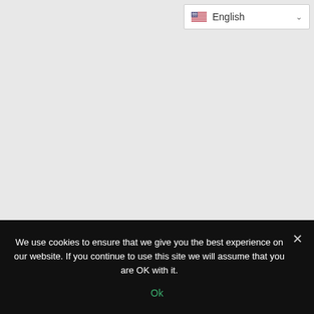[Figure (screenshot): Language selector dropdown showing English with US flag icon and chevron arrow]
We use cookies to ensure that we give you the best experience on our website. If you continue to use this site we will assume that you are OK with it.
Ok